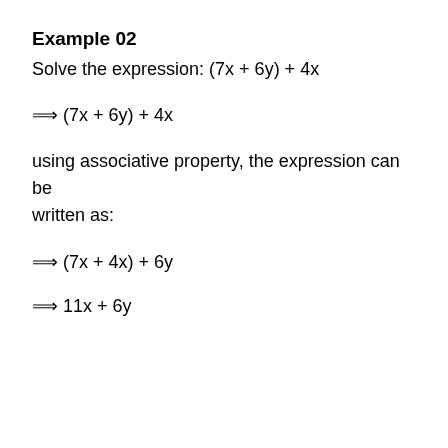Example 02
Solve the expression: (7x + 6y) + 4x
using associative property, the expression can be written as: